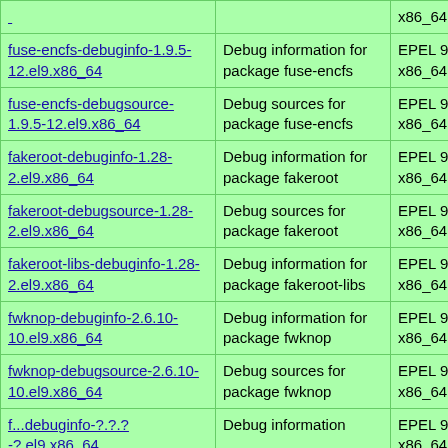| Package | Description | Repo |
| --- | --- | --- |
| [top row cut off] |  | x86_64 |
| fuse-encfs-debuginfo-1.9.5-12.el9.x86_64 | Debug information for package fuse-encfs | EPEL 9 for x86_64 |
| fuse-encfs-debugsource-1.9.5-12.el9.x86_64 | Debug sources for package fuse-encfs | EPEL 9 for x86_64 |
| fakeroot-debuginfo-1.28-2.el9.x86_64 | Debug information for package fakeroot | EPEL 9 for x86_64 |
| fakeroot-debugsource-1.28-2.el9.x86_64 | Debug sources for package fakeroot | EPEL 9 for x86_64 |
| fakeroot-libs-debuginfo-1.28-2.el9.x86_64 | Debug information for package fakeroot-libs | EPEL 9 for x86_64 |
| fwknop-debuginfo-2.6.10-10.el9.x86_64 | Debug information for package fwknop | EPEL 9 for x86_64 |
| fwknop-debugsource-2.6.10-10.el9.x86_64 | Debug sources for package fwknop | EPEL 9 for x86_64 |
| [bottom row cut off] | Debug information | EPEL 9 for... |